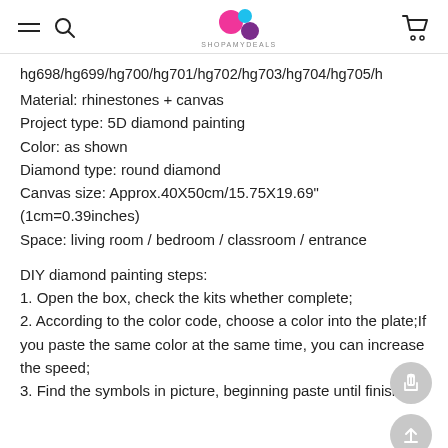SHOPAMYDEALS
hg698/hg699/hg700/hg701/hg702/hg703/hg704/hg705/h
Material: rhinestones + canvas
Project type: 5D diamond painting
Color: as shown
Diamond type: round diamond
Canvas size: Approx.40X50cm/15.75X19.69"
(1cm=0.39inches)
Space: living room / bedroom / classroom / entrance
DIY diamond painting steps:
1. Open the box, check the kits whether complete;
2. According to the color code, choose a color into the plate;If you paste the same color at the same time, you can increase the speed;
3. Find the symbols in picture, beginning paste until finish it;